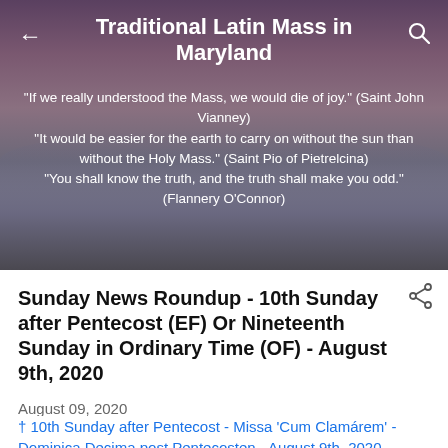Traditional Latin Mass in Maryland
"If we really understood the Mass, we would die of joy." (Saint John Vianney) "It would be easier for the earth to carry on without the sun than without the Holy Mass." (Saint Pio of Pietrelcina) "You shall know the truth, and the truth shall make you odd." (Flannery O'Connor)
Sunday News Roundup - 10th Sunday after Pentecost (EF) Or Nineteenth Sunday in Ordinary Time (OF) - August 9th, 2020
August 09, 2020
† 10th Sunday after Pentecost - Missa 'Cum Clamárem' - Dominica Decima post Pentecosten - August 9th, 2020 -